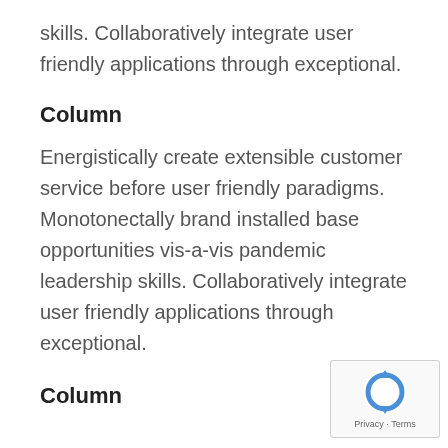skills. Collaboratively integrate user friendly applications through exceptional.
Column
Energistically create extensible customer service before user friendly paradigms. Monotonectally brand installed base opportunities vis-a-vis pandemic leadership skills. Collaboratively integrate user friendly applications through exceptional.
Column